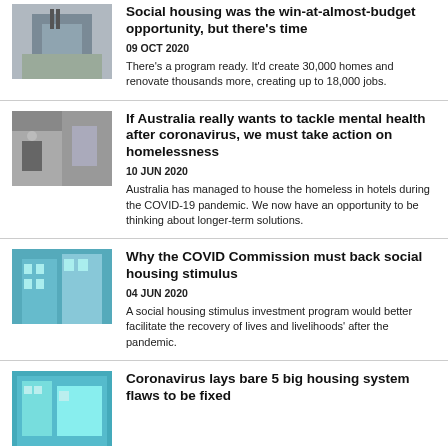Social housing was the win-at-almost-budget opportunity, but there's time
09 OCT 2020
There's a program ready. It'd create 30,000 homes and renovate thousands more, creating up to 18,000 jobs.
If Australia really wants to tackle mental health after coronavirus, we must take action on homelessness
10 JUN 2020
Australia has managed to house the homeless in hotels during the COVID-19 pandemic. We now have an opportunity to be thinking about longer-term solutions.
Why the COVID Commission must back social housing stimulus
04 JUN 2020
A social housing stimulus investment program would better facilitate the recovery of lives and livelihoods' after the pandemic.
Coronavirus lays bare 5 big housing system flaws to be fixed